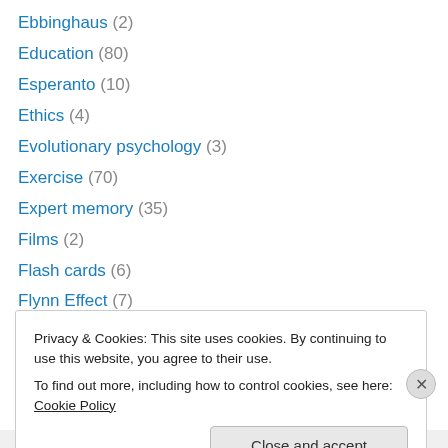Ebbinghaus (2)
Education (80)
Esperanto (10)
Ethics (4)
Evolutionary psychology (3)
Exercise (70)
Expert memory (35)
Films (2)
Flash cards (6)
Flynn Effect (7)
Food (1)
Forgetting curve (2)
funny (62)
Privacy & Cookies: This site uses cookies. By continuing to use this website, you agree to their use.
To find out more, including how to control cookies, see here: Cookie Policy